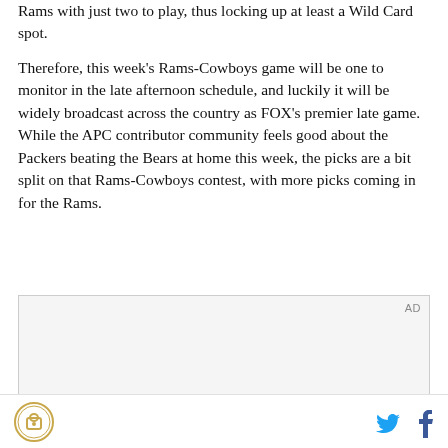Rams with just two to play, thus locking up at least a Wild Card spot.
Therefore, this week's Rams-Cowboys game will be one to monitor in the late afternoon schedule, and luckily it will be widely broadcast across the country as FOX's premier late game. While the APC contributor community feels good about the Packers beating the Bears at home this week, the picks are a bit split on that Rams-Cowboys contest, with more picks coming in for the Rams.
[Figure (other): Advertisement box with AD label in top right corner and dark bar at bottom]
Footer with site logo on left and Twitter and Facebook share icons on right